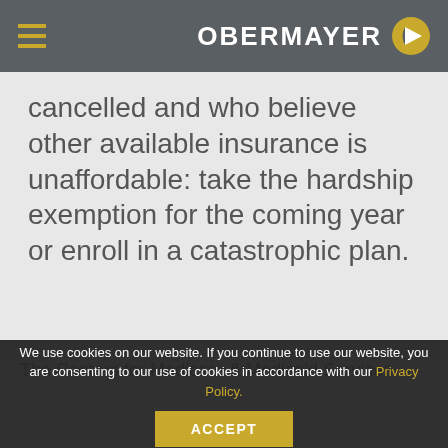OBERMAYER
cancelled and who believe other available insurance is unaffordable: take the hardship exemption for the coming year or enroll in a catastrophic plan.
The Centers for Medicare & Medicaid Services
We use cookies on our website. If you continue to use our website, you are consenting to our use of cookies in accordance with our Privacy Policy.